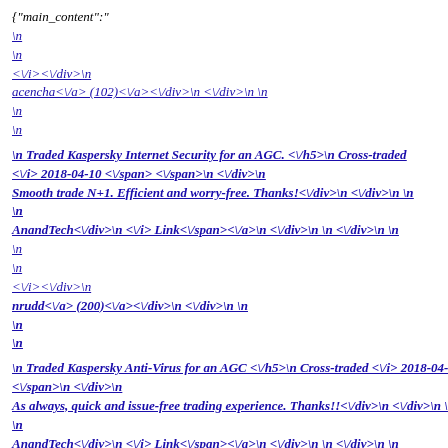{"main_content":"
\n
\n
</i></div>\n
acencha</a> (102)</a></div>\n </div>\n \n
\n
\n

\n Traded Kaspersky Internet Security for an AGC. </h5>\n Cross-traded </i> 2018-04-10 </span> </span>\n </div>\n
Smooth trade N+1. Efficient and worry-free. Thanks!</div>\n </div>\n \n
\n
AnandTech</div>\n </i> Link</span></a>\n </div>\n \n </div>\n \n
\n
\n
</i></div>\n
nrudd</a> (200)</a></div>\n </div>\n \n
\n
\n

\n Traded Kaspersky Anti-Virus for an AGC </h5>\n Cross-traded  </i> 2018-04-08 </span> </span>\n </div>\n
As always, quick and issue-free trading experience. Thanks!!</div>\n </div>\n \n
\n
AnandTech</div>\n </i> Link</span></a>\n </div>\n \n </div>\n \n
\n
\n
</i></div>\n